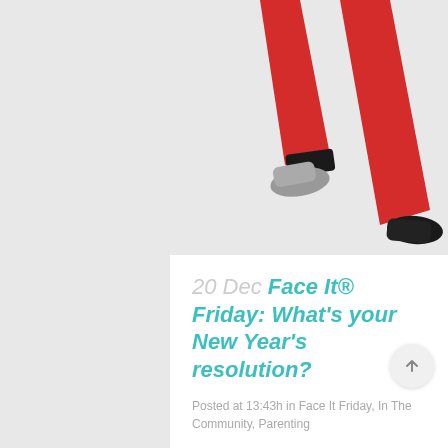[Figure (illustration): Cartoon illustration of a person's legs in red trousers and dark shoes, shown running or walking, cropped at the top — only legs visible against a light gray background.]
20 Dec Face It® Friday: What's your New Year's resolution?
Posted at 13:43h in Face It Friday, In The Community, Parenting
Face It® Friday: What's your New Year's resolution? As you're setting New Year's resolutions, remember kids and families can also set their goals for the...